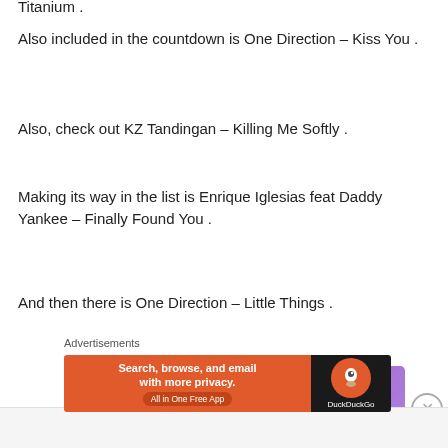Titanium .
Also included in the countdown is One Direction – Kiss You .
Also, check out KZ Tandingan – Killing Me Softly .
Making its way in the list is Enrique Iglesias feat Daddy Yankee – Finally Found You .
And then there is One Direction – Little Things .
Advertisements
[Figure (photo): WooCommerce advertisement banner with purple gradient background and WooCommerce logo]
Advertisements
[Figure (photo): DuckDuckGo advertisement banner: orange left side with text 'Search, browse, and email with more privacy. All in One Free App', black right side with DuckDuckGo logo]